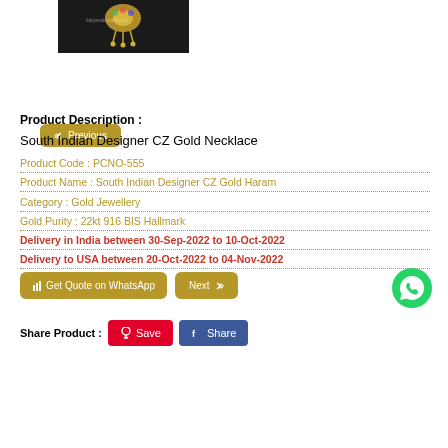[Figure (photo): Gold necklace jewelry product photo on dark background with watermark]
Previous
Product Description :
South Indian Designer CZ Gold Necklace
Product Code : PCNO-555
Product Name : South Indian Designer CZ Gold Haram
Category : Gold Jewellery
Gold Purity : 22kt 916 BIS Hallmark
Delivery in India between 30-Sep-2022 to 10-Oct-2022
Delivery to USA between 20-Oct-2022 to 04-Nov-2022
Get Quote on WhatsApp
Next
Share Product :
Save
Share